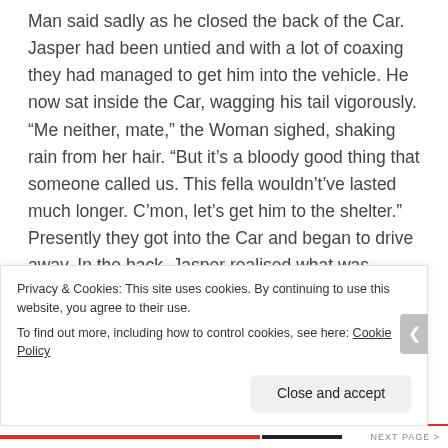Man said sadly as he closed the back of the Car. Jasper had been untied and with a lot of coaxing they had managed to get him into the vehicle. He now sat inside the Car, wagging his tail vigorously. “Me neither, mate,” the Woman sighed, shaking rain from her hair. “But it’s a bloody good thing that someone called us. This fella wouldn’t’ve lasted much longer. C’mon, let’s get him to the shelter.” Presently they got into the Car and began to drive away. In the back, Jasper realised what was happening and began to howl. How would he find his Master now?
Privacy & Cookies: This site uses cookies. By continuing to use this website, you agree to their use.
To find out more, including how to control cookies, see here: Cookie Policy